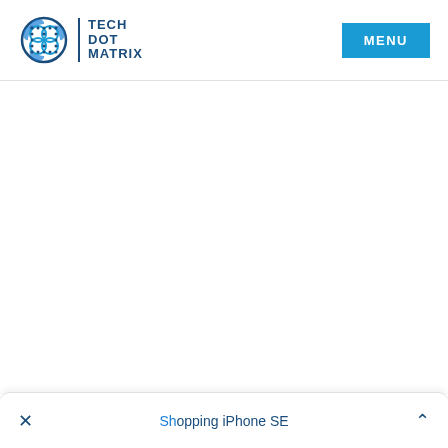TECH DOT MATRIX — MENU
× Shopping iPhone SE ^